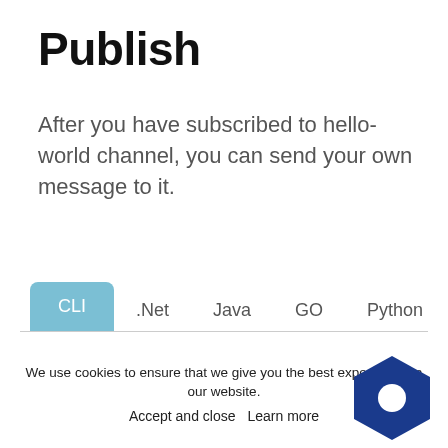Publish
After you have subscribed to hello-world channel, you can send your own message to it.
CLI
.Net
Java
GO
Python
Other
// You can download KubeTools binaries
https://github.com/kubemq.io/kubetools/
$ ./kubetools send event hello-world "
We use cookies to ensure that we give you the best experience on our website.
Accept and close   Learn more